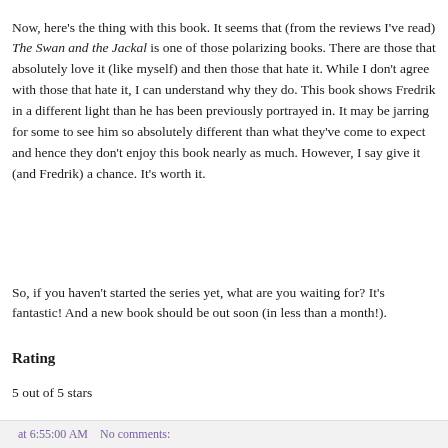Now, here's the thing with this book. It seems that (from the reviews I've read) The Swan and the Jackal is one of those polarizing books. There are those that absolutely love it (like myself) and then those that hate it. While I don't agree with those that hate it, I can understand why they do. This book shows Fredrik in a different light than he has been previously portrayed in. It may be jarring for some to see him so absolutely different than what they've come to expect and hence they don't enjoy this book nearly as much. However, I say give it (and Fredrik) a chance. It's worth it.
So, if you haven't started the series yet, what are you waiting for? It's fantastic! And a new book should be out soon (in less than a month!).
Rating
5 out of 5 stars
at 6:55:00 AM    No comments: